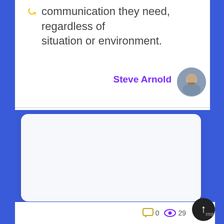those who serve with the smart communication they need, regardless of situation or environment.
Steve Arnold
[Figure (photo): Circular avatar photo of Steve Arnold, a man in a blue checkered shirt]
[Figure (screenshot): Card UI element with a yellow pill-shaped tag labeled 'eCommerce Products']
eCommerce Products
0  29